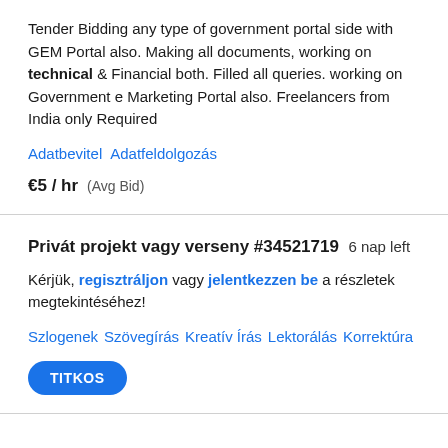Tender Bidding any type of government portal side with GEM Portal also. Making all documents, working on technical & Financial both. Filled all queries. working on Government e Marketing Portal also. Freelancers from India only Required
Adatbevitel   Adatfeldolgozás
€5 / hr  (Avg Bid)
Privát projekt vagy verseny #34521719  6 nap left
Kérjük, regisztráljon vagy jelentkezzen be a részletek megtekintéséhez!
Szlogenek  Szövegírás  Kreatív Írás  Lektorálás  Korrektúra
TITKOS